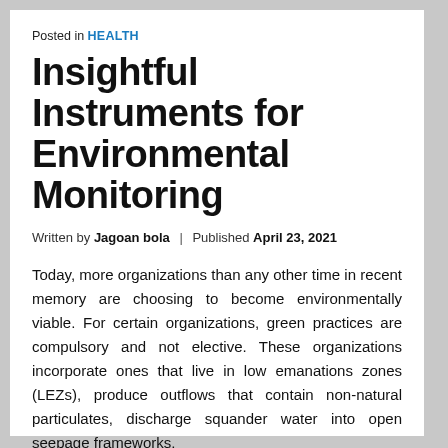Posted in HEALTH
Insightful Instruments for Environmental Monitoring
Written by Jagoan bola | Published April 23, 2021
Today, more organizations than any other time in recent memory are choosing to become environmentally viable. For certain organizations, green practices are compulsory and not elective. These organizations incorporate ones that live in low emanations zones (LEZs), produce outflows that contain non-natural particulates, discharge squander water into open seepage frameworks,